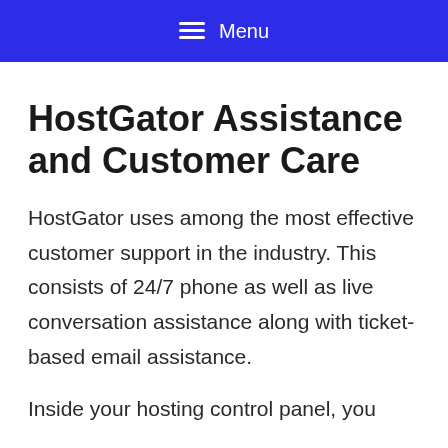☰ Menu
HostGator Assistance and Customer Care
HostGator uses among the most effective customer support in the industry. This consists of 24/7 phone as well as live conversation assistance along with ticket-based email assistance.
Inside your hosting control panel, you